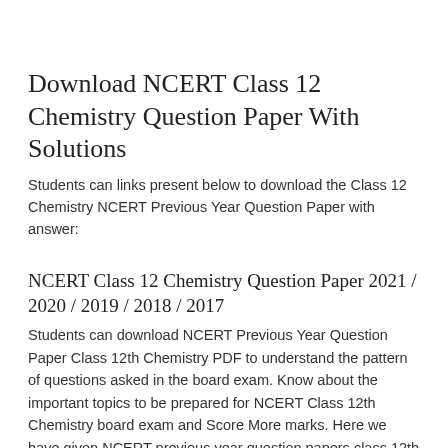Download NCERT Class 12 Chemistry Question Paper With Solutions
Students can links present below to download the Class 12 Chemistry NCERT Previous Year Question Paper with answer:
NCERT Class 12 Chemistry Question Paper 2021 / 2020 / 2019 / 2018 / 2017
Students can download NCERT Previous Year Question Paper Class 12th Chemistry PDF to understand the pattern of questions asked in the board exam. Know about the important topics to be prepared for NCERT Class 12th Chemistry board exam and Score More marks. Here we have given NCERT previous year question papers class 12th Chemistry with solutions.